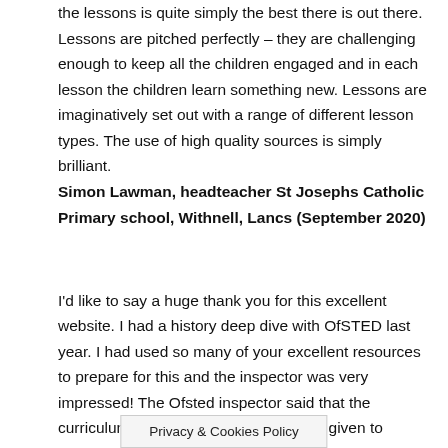the lessons is quite simply the best there is out there. Lessons are pitched perfectly – they are challenging enough to keep all the children engaged and in each lesson the children learn something new. Lessons are imaginatively set out with a range of different lesson types. The use of high quality sources is simply brilliant. Simon Lawman, headteacher St Josephs Catholic Primary school, Withnell, Lancs (September 2020)
I'd like to say a huge thank you for this excellent website. I had a history deep dive with OfSTED last year. I had used so many of your excellent resources to prepare for this and the inspector was very impressed! The Ofsted inspector said that the curriculum coverage and consideration given to progression of skills was
Privacy & Cookies Policy